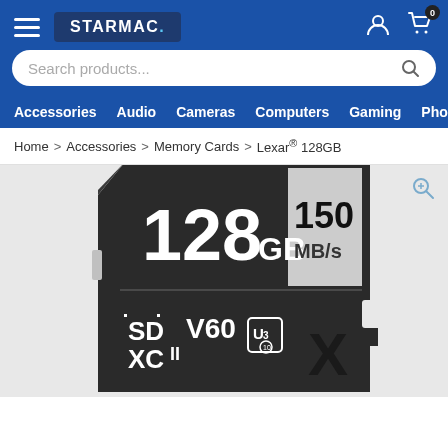STARMAC. — Navigation header with hamburger menu, logo, user icon, cart icon (0 items)
Search products...
Accessories  Audio  Cameras  Computers  Gaming  Pho
Home > Accessories > Memory Cards > Lexar® 128GB
[Figure (photo): Close-up photo of a Lexar 128GB SDXC II V60 U3 memory card showing 150 MB/s read speed, SD XC II V60 U3 class 10 logos on a dark/black card body with silver accents]